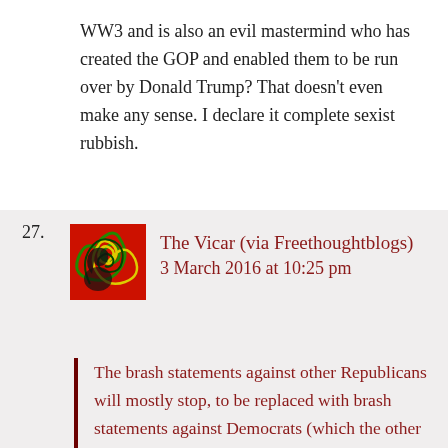WW3 and is also an evil mastermind who has created the GOP and enabled them to be run over by Donald Trump? That doesn’t even make any sense. I declare it complete sexist rubbish.
27. The Vicar (via Freethoughtblogs)
3 March 2016 at 10:25 pm
The brash statements against other Republicans will mostly stop, to be replaced with brash statements against Democrats (which the other Republicans will not object to). Trump will embrace some (possibly not all, but enough) of the standard Republican talking points, he’ll stop making the more extreme claims and calm down except when arguing with the Democratic nominee